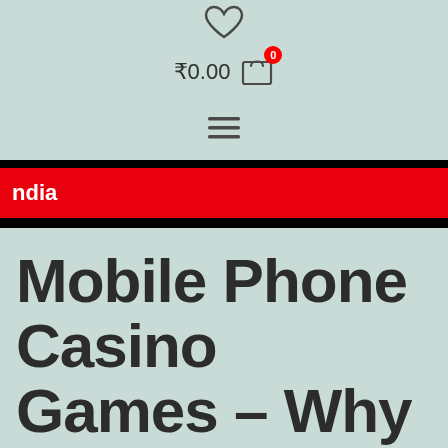[Figure (screenshot): Heart/wishlist icon at top center of mobile website header]
₹0.00  [cart icon with badge 0]
[Figure (screenshot): Hamburger menu icon (three horizontal lines)]
ndia  [red navigation bar, partially visible, text likely 'India']
Mobile Phone Casino Games – Why